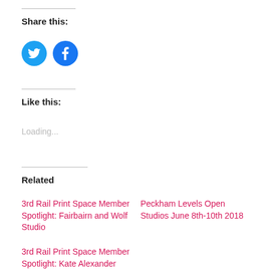Share this:
[Figure (illustration): Twitter and Facebook social share icon buttons — Twitter (light blue circle with bird icon) and Facebook (blue circle with f icon)]
Like this:
Loading...
Related
3rd Rail Print Space Member Spotlight: Fairbairn and Wolf Studio
Peckham Levels Open Studios June 8th-10th 2018
3rd Rail Print Space Member Spotlight: Kate Alexander